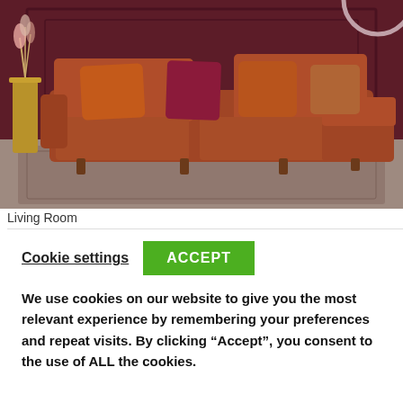[Figure (photo): A rust/terracotta colored sectional sofa with multiple cushions (orange, dark red/magenta, patterned) set in a dark burgundy-walled living room with a patterned rug on the floor and a tall gold side table with dried flowers to the left.]
Living Room
Cookie settings   ACCEPT
We use cookies on our website to give you the most relevant experience by remembering your preferences and repeat visits. By clicking “Accept”, you consent to the use of ALL the cookies.